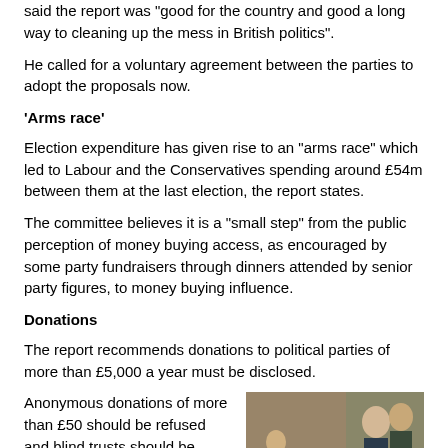said the report was "good for the country and good a long way to cleaning up the mess in British politics".
He called for a voluntary agreement between the parties to adopt the proposals now.
'Arms race'
Election expenditure has given rise to an "arms race" which led to Labour and the Conservatives spending around £54m between them at the last election, the report states.
The committee believes it is a "small step" from the public perception of money buying access, as encouraged by some party fundraisers through dinners attended by senior party figures, to money buying influence.
Donations
The report recommends donations to political parties of more than £5,000 a year must be disclosed.
Anonymous donations of more than £50 should be refused and blind trusts should be prohibited as a method of funding parties, the committee suggests.
[Figure (photo): Photo of people at what appears to be an outdoor political or public event, showing men in suits, one prominent figure in foreground with grey hair.]
But the report does not